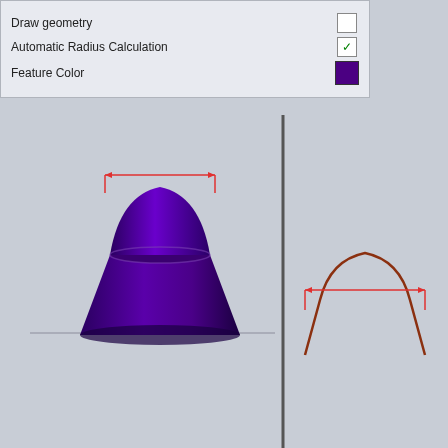[Figure (screenshot): Software UI panel showing options: Draw geometry (unchecked checkbox), Automatic Radius Calculation (checked checkbox with green checkmark), Feature Color (purple/dark violet color swatch)]
[Figure (engineering-diagram): 3D CAD view showing a truncated cone/dome shape in dark purple/violet with a red bounding box measurement indicator at the top, shown from front view. A vertical dark dividing line separates main 3D view from a secondary 2D cross-section profile on the right showing the curved dome outline in dark red/brown with a red measurement bracket.]